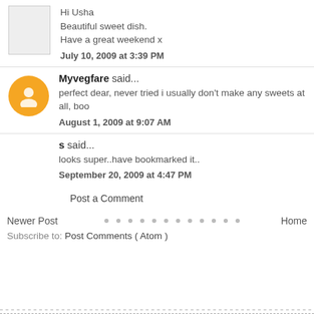Hi Usha
Beautiful sweet dish.
Have a great weekend x
July 10, 2009 at 3:39 PM
Myvegfare said...
perfect dear, never tried i usually don't make any sweets at all, boo
August 1, 2009 at 9:07 AM
s said...
looks super..have bookmarked it..
September 20, 2009 at 4:47 PM
Post a Comment
Newer Post
Home
Subscribe to: Post Comments ( Atom )